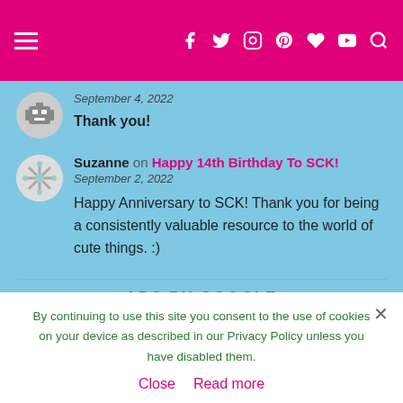Navigation header with hamburger menu and social icons: Facebook, Twitter, Instagram, Pinterest, Bloglovin, YouTube, Search
September 4, 2022
Thank you!
Suzanne on Happy 14th Birthday To SCK!
September 2, 2022
Happy Anniversary to SCK! Thank you for being a consistently valuable resource to the world of cute things. :)
ADS BY GOOGLE
By continuing to use this site you consent to the use of cookies on your device as described in our Privacy Policy unless you have disabled them.
Close   Read more